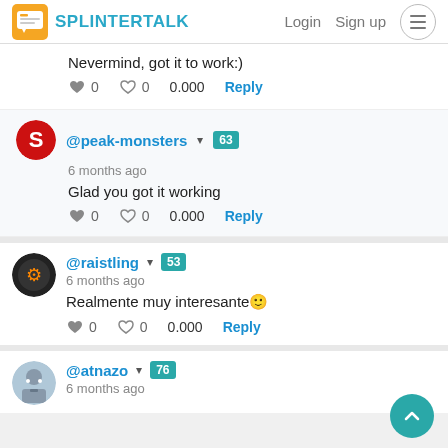SPLINTERTALK | Login | Sign up
Nevermind, got it to work:)
♥ 0  ♥ 0  0.000  Reply
@peak-monsters ▾ 63
6 months ago
Glad you got it working
♥ 0  ♥ 0  0.000  Reply
@raistling ▾ 53
6 months ago
Realmente muy interesante 😊
♥ 0  ♥ 0  0.000  Reply
@atnazo ▾ 76
6 months ago